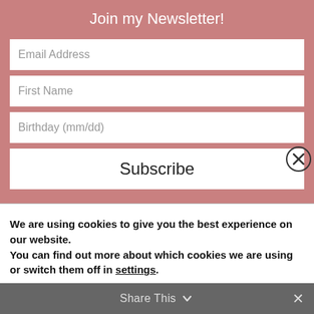Join my Newsletter!
Email Address
First Name
Birthday (mm/dd)
Subscribe
[Figure (photo): Blurred photo of a brick building facade with large windows]
We are using cookies to give you the best experience on our website.
You can find out more about which cookies we are using or switch them off in settings.
Accept
Share This
×